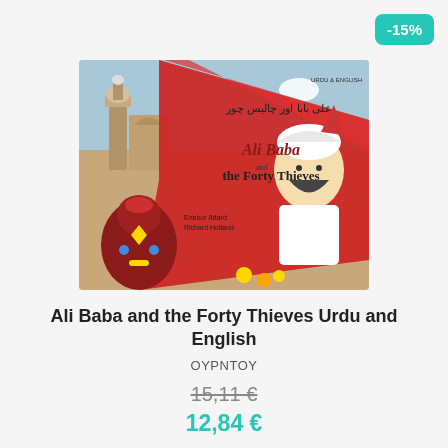-15%
[Figure (illustration): Book cover of 'Ali Baba and the Forty Thieves' in Urdu and English. Features illustrated desert scene with a turbaned character, a large red cloth/sail, jeweled vase, minarets, and the book title in both Urdu script and English. Authors listed as Enebor Attard and Richard Holland.]
Ali Baba and the Forty Thieves Urdu and English
OYPNTOY
15,11 €
12,84 €